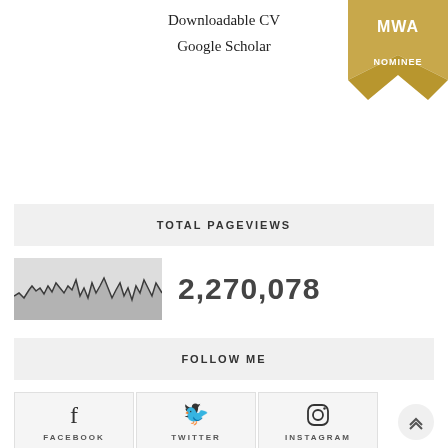Downloadable CV
Google Scholar
[Figure (illustration): MWA NOMINEE gold ribbon/badge in top right corner]
TOTAL PAGEVIEWS
[Figure (continuous-plot): Sparkline chart showing page view traffic over time, jagged line with gray fill]
2,270,078
FOLLOW ME
[Figure (infographic): Facebook icon with label FACEBOOK]
[Figure (infographic): Twitter bird icon with label TWITTER]
[Figure (infographic): Instagram icon with label INSTAGRAM]